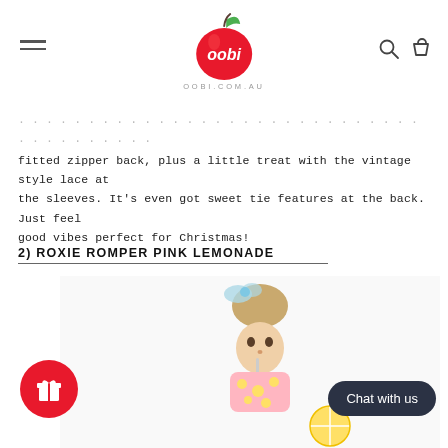OOBI.COM.AU
fitted zipper back, plus a little treat with the vintage style lace at the sleeves. It's even got sweet tie features at the back. Just feel good vibes perfect for Christmas!
2) ROXIE ROMPER PINK LEMONADE
[Figure (photo): Young girl wearing a pink lemonade print romper with a blue polka dot hair bow, sipping through a straw, white background]